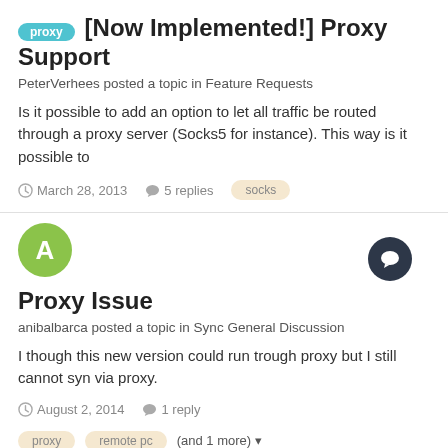[Now Implemented!] Proxy Support
PeterVerhees posted a topic in Feature Requests
Is it possible to add an option to let all traffic be routed through a proxy server (Socks5 for instance). This way is it possible to
March 28, 2013   5 replies   socks
Proxy Issue
anibalbarca posted a topic in Sync General Discussion
I though this new version could run trough proxy but I still cannot syn via proxy.
August 2, 2014   1 reply   proxy   remote pc   (and 1 more)